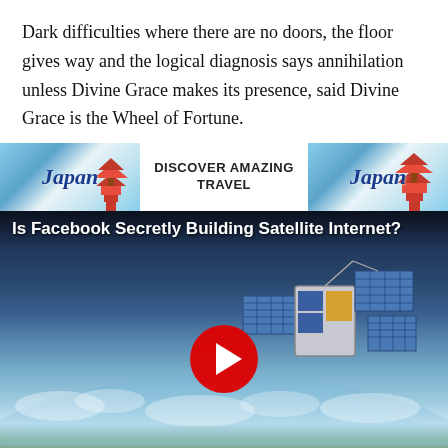Dark difficulties where there are no doors, the floor gives way and the logical diagnosis says annihilation unless Divine Grace makes its presence, said Divine Grace is the Wheel of Fortune.
[Figure (infographic): Advertisement banner: Japan travel ad with 'DISCOVER AMAZING TRAVEL' text in center, Japan tourism logos on left and right with pagoda imagery]
[Figure (screenshot): Video thumbnail showing a satellite in orbit above Earth with text 'Is Facebook Secretly Building Satellite Internet?' and a YouTube-style play button. Video controls show 00:00/0 timestamp.]